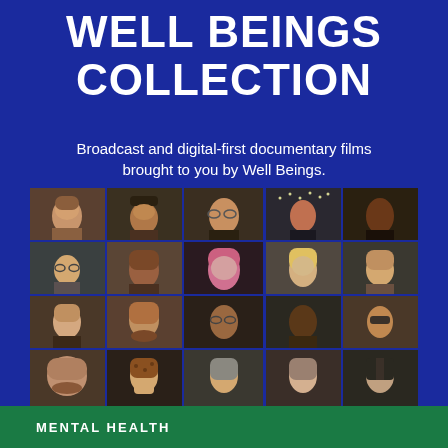WELL BEINGS COLLECTION
Broadcast and digital-first documentary films brought to you by Well Beings.
[Figure (photo): A 4-row by 5-column mosaic grid of documentary film subjects — diverse individuals of various ages, genders, and ethnicities shown in portrait-style video stills with dark, warm-toned backgrounds.]
MENTAL HEALTH